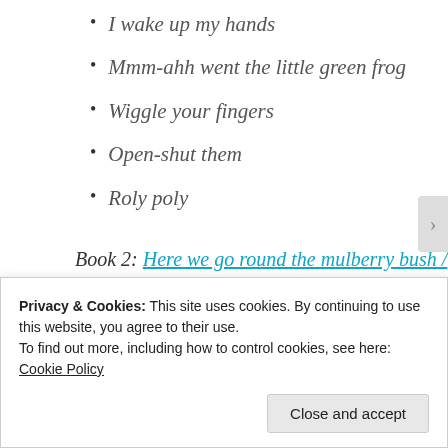I wake up my hands
Mmm-ahh went the little green frog
Wiggle your fingers
Open-shut them
Roly poly
Book 2: Here we go round the mulberry bush / Jane Cabrera
[Figure (photo): Book cover of 'Here We Go Round the Mulberry Bush' showing blue background with decorative text]
Privacy & Cookies: This site uses cookies. By continuing to use this website, you agree to their use.
To find out more, including how to control cookies, see here: Cookie Policy